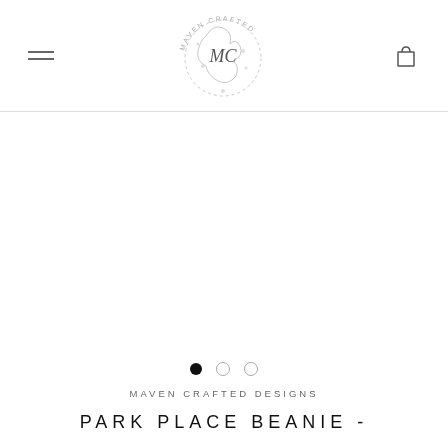Maven Crafted (logo/navigation header)
[Figure (logo): Maven Crafted circular logo with yarn and floral illustration surrounding 'MC' monogram and 'MAVEN CRAFTED' text arcing around the top]
[Figure (other): Image carousel with three slides (dots navigation): first dot filled/active, two empty dots]
MAVEN CRAFTED DESIGNS
PARK PLACE BEANIE -